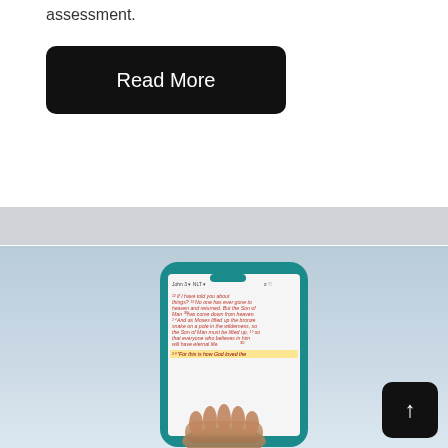assessment.
Read More
[Figure (photo): A hand holding a smartphone against a light blue/grey sky background. The phone screen displays a Bible app showing John 3, with text including highlighted passages in red and yellow. A black scroll-to-top button is visible in the lower right corner of the image.]